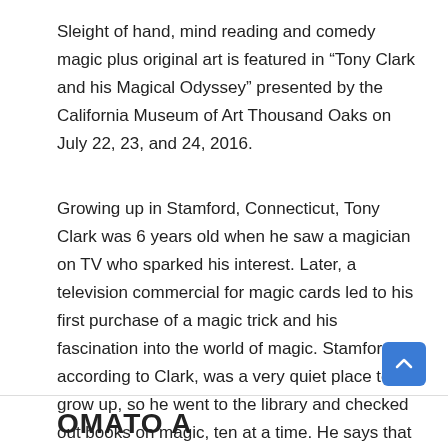Sleight of hand, mind reading and comedy magic plus original art is featured in “Tony Clark and his Magical Odyssey” presented by the California Museum of Art Thousand Oaks on July 22, 23, and 24, 2016.
Growing up in Stamford, Connecticut, Tony Clark was 6 years old when he saw a magician on TV who sparked his interest. Later, a television commercial for magic cards led to his first purchase of a magic trick and his fascination into the world of magic. Stamford, according to Clark, was a very quiet place to grow up, so he went to the library and checked out books on magic, ten at a time. He says that he had some trouble reading, but magic gave him a reason to read.
OMATO A